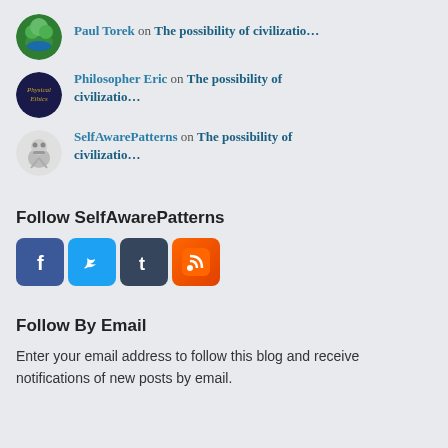Paul Torek on The possibility of civilizatio…
Philosopher Eric on The possibility of civilizatio…
SelfAwarePatterns on The possibility of civilizatio…
Follow SelfAwarePatterns
[Figure (infographic): Four social media icon buttons: Facebook (blue), Twitter (light blue), Tumblr (dark blue-grey), RSS feed (orange)]
Follow By Email
Enter your email address to follow this blog and receive notifications of new posts by email.